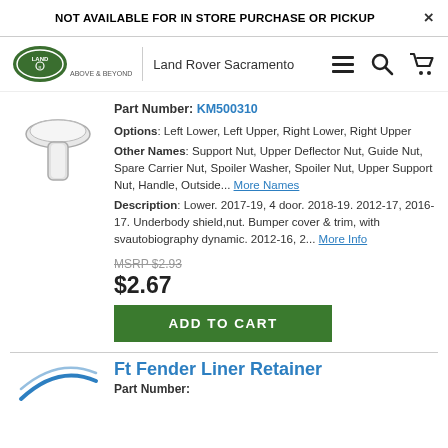NOT AVAILABLE FOR IN STORE PURCHASE OR PICKUP
[Figure (logo): Land Rover oval logo with 'ABOVE & BEYOND' tagline and 'Land Rover Sacramento' dealer name]
Part Number: KM500310
Options: Left Lower, Left Upper, Right Lower, Right Upper
Other Names: Support Nut, Upper Deflector Nut, Guide Nut, Spare Carrier Nut, Spoiler Washer, Spoiler Nut, Upper Support Nut, Handle, Outside... More Names
Description: Lower. 2017-19, 4 door. 2018-19. 2012-17, 2016-17. Underbody shield,nut. Bumper cover & trim, with svautobiography dynamic. 2012-16, 2... More Info
MSRP $2.93
$2.67
ADD TO CART
[Figure (photo): Product image of a plastic push-clip nut fastener]
Ft Fender Liner Retainer
Part Number: ...
[Figure (photo): Partial product image at bottom of page]